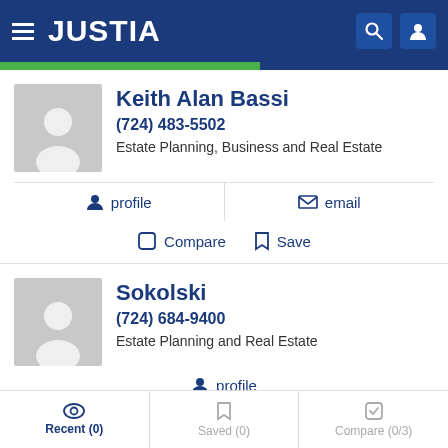JUSTIA
[Figure (screenshot): Lawyer profile card for Keith Alan Bassi]
Keith Alan Bassi
(724) 483-5502
Estate Planning, Business and Real Estate
profile
email
Compare
Save
[Figure (screenshot): Lawyer profile card for Sokolski]
Sokolski
(724) 684-9400
Estate Planning and Real Estate
profile
Recent (0)   Saved (0)   Compare (0/3)